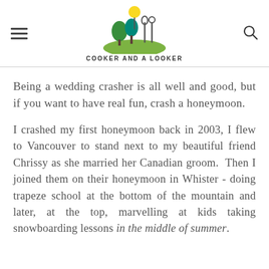[Figure (logo): Cooker and a Looker blog logo with illustrated trees and the text COOKER AND A LOOKER]
Being a wedding crasher is all well and good, but if you want to have real fun, crash a honeymoon.
I crashed my first honeymoon back in 2003, I flew to Vancouver to stand next to my beautiful friend Chrissy as she married her Canadian groom. Then I joined them on their honeymoon in Whister - doing trapeze school at the bottom of the mountain and later, at the top, marvelling at kids taking snowboarding lessons in the middle of summer.